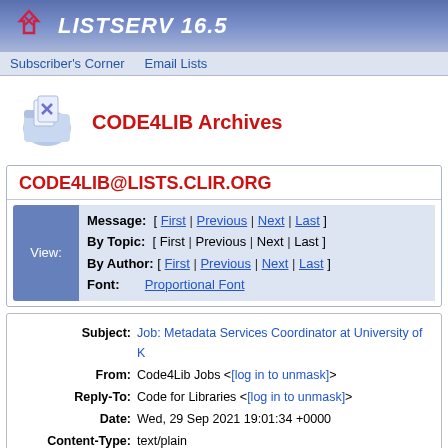LISTSERV 16.5
Subscriber's Corner  Email Lists
CODE4LIB Archives
CODE4LIB@LISTS.CLIR.ORG
View: Message: [ First | Previous | Next | Last ] By Topic: [ First | Previous | Next | Last ] By Author: [ First | Previous | Next | Last ] Font: Proportional Font
| Field | Value |
| --- | --- |
| Subject: | Job: Metadata Services Coordinator at University of K... |
| From: | Code4Lib Jobs <[log in to unmask]> |
| Reply-To: | Code for Libraries <[log in to unmask]> |
| Date: | Wed, 29 Sep 2021 19:01:34 +0000 |
| Content-Type: | text/plain |
| Parts/Attachments: | text/plain (43 lines) |